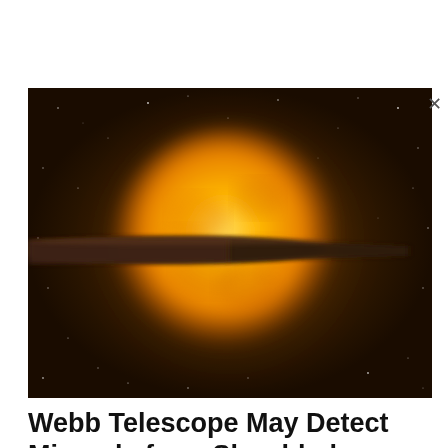[Figure (illustration): Artistic illustration of a large golden-yellow star with a dark elongated disk or debris field passing in front of it, set against a dark brown starry background. The star dominates the center of the image with a bright luminous glow, and a flat dark shadow-like object crosses horizontally in front of the star.]
Webb Telescope May Detect Minerals from Shredded Worlds